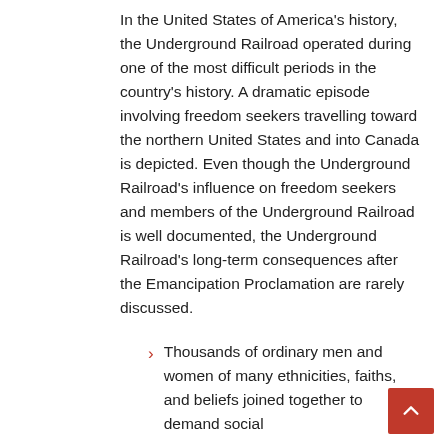In the United States of America's history, the Underground Railroad operated during one of the most difficult periods in the country's history. A dramatic episode involving freedom seekers travelling toward the northern United States and into Canada is depicted. Even though the Underground Railroad's influence on freedom seekers and members of the Underground Railroad is well documented, the Underground Railroad's long-term consequences after the Emancipation Proclamation are rarely discussed.
Thousands of ordinary men and women of many ethnicities, faiths, and beliefs joined together to demand social